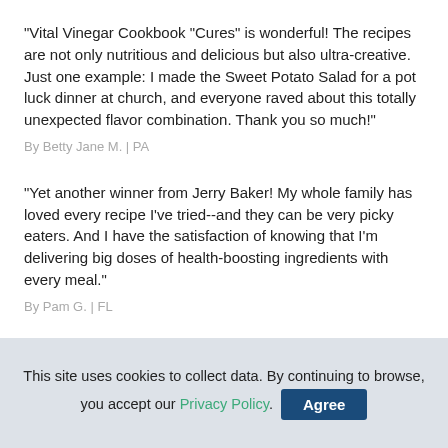"Vital Vinegar Cookbook "Cures" is wonderful! The recipes are not only nutritious and delicious but also ultra-creative. Just one example: I made the Sweet Potato Salad for a pot luck dinner at church, and everyone raved about this totally unexpected flavor combination. Thank you so much!"
By Betty Jane M. | PA
"Yet another winner from Jerry Baker! My whole family has loved every recipe I've tried--and they can be very picky eaters. And I have the satisfaction of knowing that I'm delivering big doses of health-boosting ingredients with every meal."
By Pam G. | FL
This site uses cookies to collect data. By continuing to browse, you accept our Privacy Policy. Agree